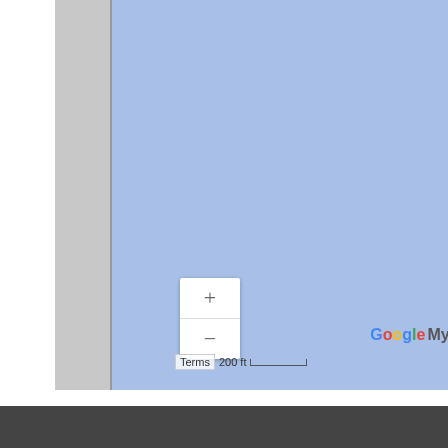[Figure (map): Google My Maps screenshot showing a light blue water/ocean area with a swimmer icon marker, zoom controls (+/-) in lower left, scale bar showing 200 ft, Google My Maps branding in lower right.]